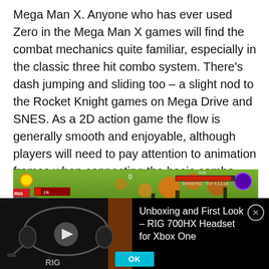Mega Man X. Anyone who has ever used Zero in the Mega Man X games will find the combat mechanics quite familiar, especially in the classic three hit combo system. There's dash jumping and sliding too – a slight nod to the Rocket Knight games on Mega Drive and SNES. As a 2D action game the flow is generally smooth and enjoyable, although players will need to pay attention to animation frames when connecting the basic combo attack, as it is often easy to get stuck in an attack animation and not have enough time to react.
[Figure (screenshot): Screenshot of a 2D action game showing a level with orange/yellow foliage in the background. HUD elements visible including a sun icon, score bar on the left, a red health bar in the center-right area, and a purple enemy icon on the right. Text 'General Tortilla' or similar appears near the health bar.]
[Figure (screenshot): Video overlay showing a RIG 700HX headset product video thumbnail on the left (dark background with headset visible, play button in center), and text on black background on the right reading 'Unboxing and First Look – RIG 700HX Headset for Xbox One' with a close (X) button. An OK button appears at the bottom center.]